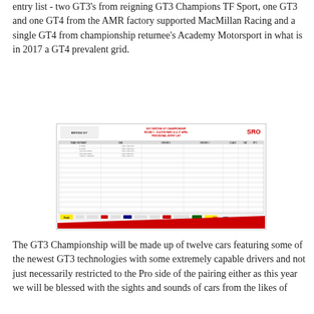entry list - two GT3's from reigning GT3 Champions TF Sport, one GT3 and one GT4 from the AMR factory supported MacMillan Racing and a single GT4 from championship returnee's Academy Motorsport in what is in 2017 a GT4 prevalent grid.
[Figure (other): 2017 British GT Championship Round 1 - Oulton Park 16 & 17 April Provisional Entry List document showing a detailed table of teams, cars, drivers and class information, with sponsor logos at the bottom including SRO branding.]
The GT3 Championship will be made up of twelve cars featuring some of the newest GT3 technologies with some extremely capable drivers and not just necessarily restricted to the Pro side of the pairing either as this year we will be blessed with the sights and sounds of cars from the likes of